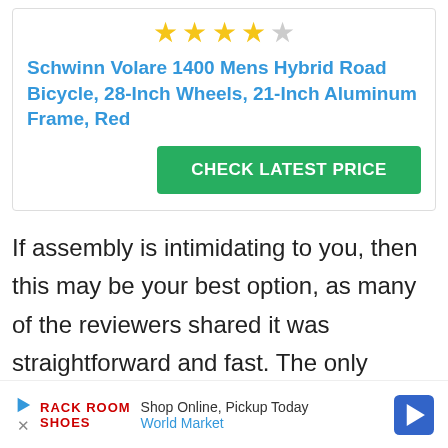[Figure (other): 4 out of 5 star rating shown as gold and grey stars]
Schwinn Volare 1400 Mens Hybrid Road Bicycle, 28-Inch Wheels, 21-Inch Aluminum Frame, Red
CHECK LATEST PRICE
If assembly is intimidating to you, then this may be your best option, as many of the reviewers shared it was straightforward and fast. The only reservations mentioned were the overall wheel quality, which is
[Figure (other): Advertisement bar: Shop Online, Pickup Today - World Market]